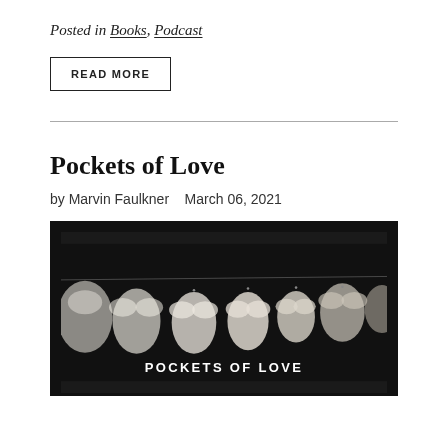Posted in Books, Podcast
READ MORE
Pockets of Love
by Marvin Faulkner   March 06, 2021
[Figure (photo): Black and white photo of paper heart shapes strung together on a string against a dark background, with text 'POCKETS OF LOVE' overlaid at the bottom center.]